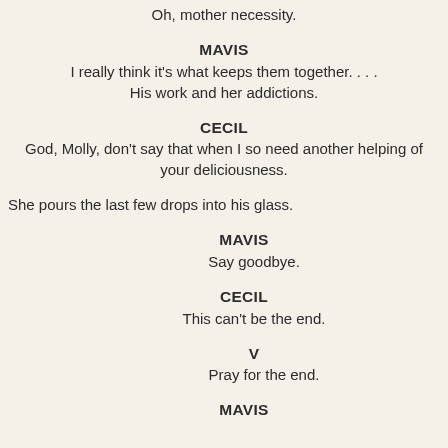Oh, mother necessity.
MAVIS
I really think it's what keeps them together. . . .
His work and her addictions.
CECIL
God, Molly, don't say that when I so need another helping of your deliciousness.
She pours the last few drops into his glass.
MAVIS
Say goodbye.
CECIL
This can't be the end.
V
Pray for the end.
MAVIS